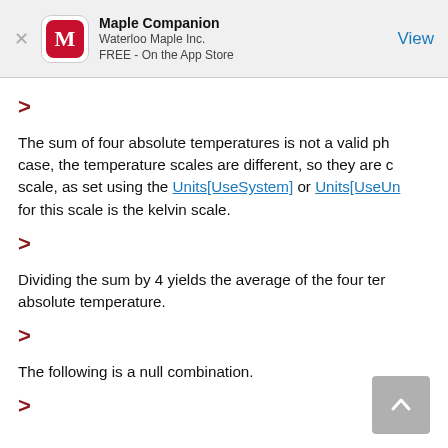Maple Companion
Waterloo Maple Inc.
FREE - On the App Store
>
The sum of four absolute temperatures is not a valid ph... case, the temperature scales are different, so they are c... scale, as set using the Units[UseSystem] or Units[UseUn... for this scale is the kelvin scale.
>
Dividing the sum by 4 yields the average of the four ter... absolute temperature.
>
The following is a null combination.
>